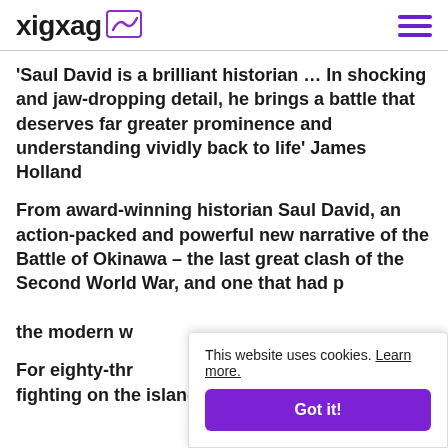xigxag [logo icon] [hamburger menu]
'Saul David is a brilliant historian … In shocking and jaw-dropping detail, he brings a battle that deserves far greater prominence and understanding vividly back to life' James Holland
From award-winning historian Saul David, an action-packed and powerful new narrative of the Battle of Okinawa – the last great clash of the Second World War, and one that had p[artly shaped] the modern w[orld]
For eighty-thr[ee days,] fighting on the island of Okinawa plunged
This website uses cookies. Learn more.
Got it!